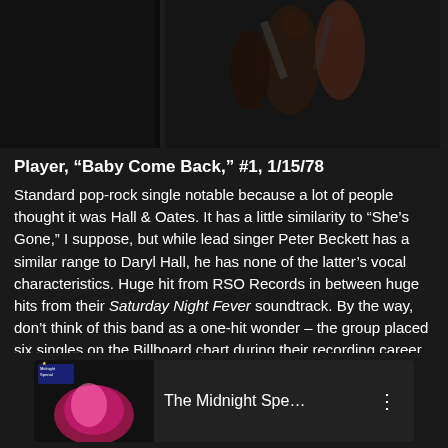[Figure (photo): Dark photograph of people, appears to be a concert or performance scene with figures visible against a dark background]
Player, “Baby Come Back,” #1, 1/15/78
Standard pop-rock single notable because a lot of people thought it was Hall & Oates. It has a little similarity to “She’s Gone,” I suppose, but while lead singer Peter Beckett has a similar range to Daryl Hall, he has none of the latter’s vocal characteristics. Huge hit from RSO Records in between huge hits from their Saturday Night Fever soundtrack. By the way, don’t think of this band as a one-hit wonder – the group placed six singles on the Billboard chart during their recording career, three of which came out in 1978 alone. (That said, this is the one you’re likely to hear on oldies stations.)
[Figure (screenshot): Video thumbnail showing The Midnight Spe... title with a logo icon on the left and three-dot menu on the right, with a colorful performance image]